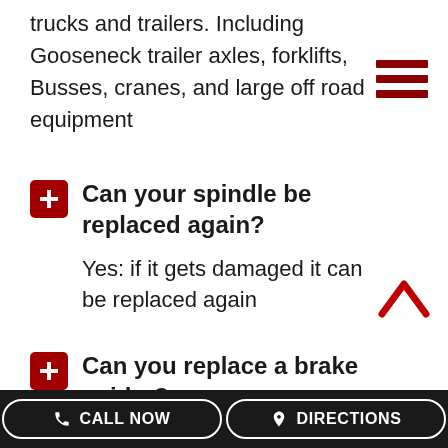trucks and trailers. Including Gooseneck trailer axles, forklifts, Busses, cranes, and large off road equipment
Can your spindle be replaced again?
Yes: if it gets damaged it can be replaced again
Can you replace a brake spider?
Yes! We stock the most popular
CALL NOW   DIRECTIONS